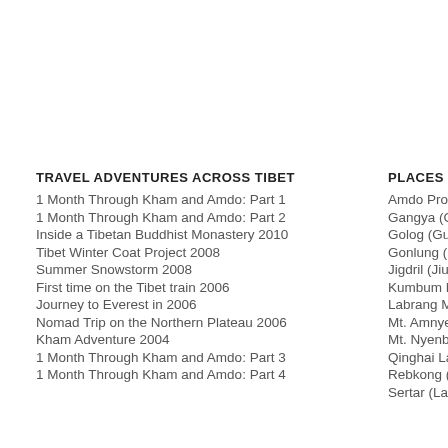TRAVEL ADVENTURES ACROSS TIBET
1 Month Through Kham and Amdo: Part 1
1 Month Through Kham and Amdo: Part 2
Inside a Tibetan Buddhist Monastery 2010
Tibet Winter Coat Project 2008
Summer Snowstorm 2008
First time on the Tibet train 2006
Journey to Everest in 2006
Nomad Trip on the Northern Plateau 2006
Kham Adventure 2004
1 Month Through Kham and Amdo: Part 3
1 Month Through Kham and Amdo: Part 4
PLACES IN AM
Amdo Province
Gangya (Ganjia
Golog (Guoluo)
Gonlung (Huzh
Jigdril (Jiuzhi)
Kumbum Mona
Labrang Monas
Mt. Amnye Mac
Mt. Nyenbo Yur
Qinghai Lake
Rebkong (Tong
Sertar (Larung